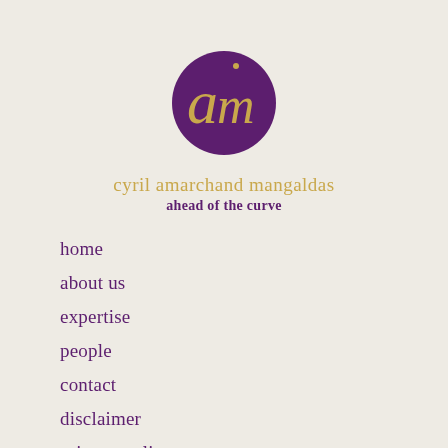[Figure (logo): Cyril Amarchand Mangaldas logo: circular dark purple badge with stylized 'am' monogram in gold]
cyril amarchand mangaldas
ahead of the curve
home
about us
expertise
people
contact
disclaimer
privacy policy